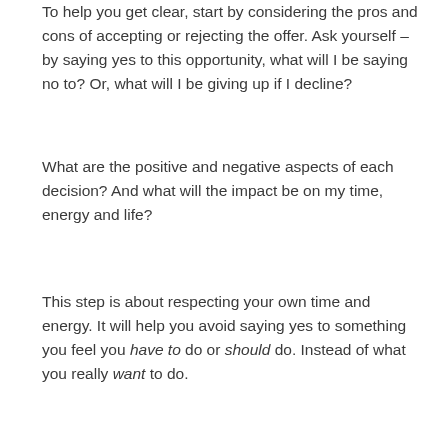To help you get clear, start by considering the pros and cons of accepting or rejecting the offer. Ask yourself – by saying yes to this opportunity, what will I be saying no to? Or, what will I be giving up if I decline?
What are the positive and negative aspects of each decision? And what will the impact be on my time, energy and life?
This step is about respecting your own time and energy. It will help you avoid saying yes to something you feel you have to do or should do. Instead of what you really want to do.